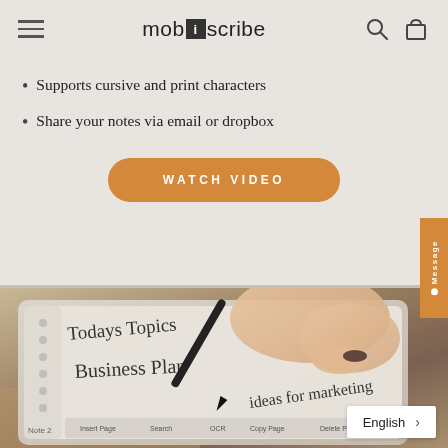mobiscribe — navigation header with hamburger menu, logo, search and cart icons
Supports cursive and print characters
Share your notes via email or dropbox
WATCH VIDEO
[Figure (photo): A hand holding a stylus pen writing on a MobiScribe e-ink device, showing handwritten notes including 'Todays Topics', 'Business Plan', and 'ideas for marketing'. A language selector button showing 'English >' appears in the bottom right corner.]